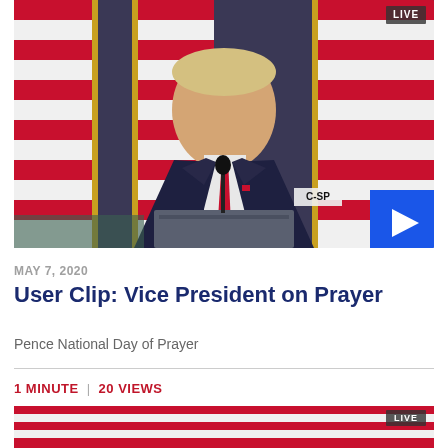[Figure (screenshot): Video thumbnail showing a man in a dark suit with red tie at a podium in front of American flags, with a blue play button overlay in the bottom-right corner and a C-SPAN watermark. A 'LIVE' badge appears in the upper right.]
MAY 7, 2020
User Clip: Vice President on Prayer
Pence National Day of Prayer
1 MINUTE  |  20 VIEWS
[Figure (screenshot): Partial video thumbnail at bottom showing American flags with a 'LIVE' badge.]